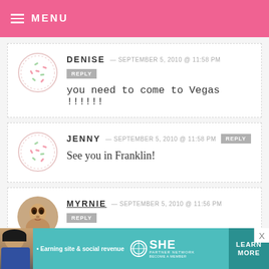MENU
DENISE — SEPTEMBER 5, 2010 @ 11:58 PM REPLY
you need to come to Vegas !!!!!!
JENNY — SEPTEMBER 5, 2010 @ 11:58 PM REPLY
See you in Franklin!
MYRNIE — SEPTEMBER 5, 2010 @ 11:56 PM REPLY
[Figure (infographic): SHE Partner Network advertisement banner with teal background, woman photo, text 'Earning site & social revenue', SHE logo, 'PARTNER NETWORK BECOME A MEMBER', and 'LEARN MORE' button]